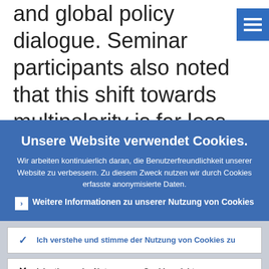and global policy dialogue. Seminar participants also noted that this shift towards multipolarity is far less pronounced in international currency
[Figure (other): Hamburger menu icon button (three horizontal lines) in blue square, top-right corner]
Unsere Website verwendet Cookies.
Wir arbeiten kontinuierlich daran, die Benutzerfreundlichkeit unserer Website zu verbessern. Zu diesem Zweck nutzen wir durch Cookies erfasste anonymisierte Daten.
› Weitere Informationen zu unserer Nutzung von Cookies
✓ Ich verstehe und stimme der Nutzung von Cookies zu
✕ Ich stimme der Nutzung von Cookies nicht zu